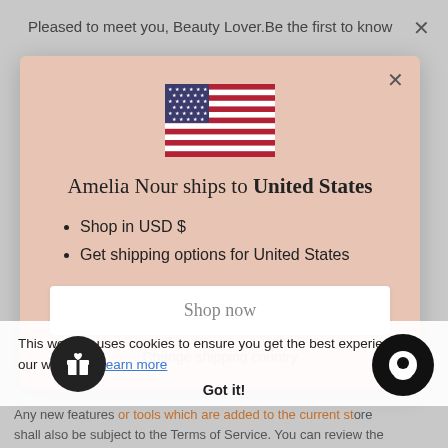Pleased to meet you, Beauty Lover.Be the first to know
[Figure (screenshot): Modal dialog on an e-commerce website with a US flag, shipping information for United States, Shop now button, and Change shipping country link]
Amelia Nour ships to United States
Shop in USD $
Get shipping options for United States
Shop now
Change shipping country
This website uses cookies to ensure you get the best experience on our website. Learn more
Got it!
Any new features or tools which are added to the current store shall also be subject to the Terms of Service. You can review the